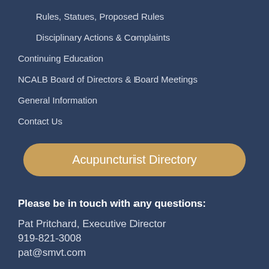Rules, Statues, Proposed Rules
Disciplinary Actions & Complaints
Continuing Education
NCALB Board of Directors & Board Meetings
General Information
Contact Us
[Figure (other): Button labeled Acupuncturist Directory with a tan/gold rounded rectangle background]
Please be in touch with any questions:
Pat Pritchard, Executive Director
919-821-3008
pat@smvt.com